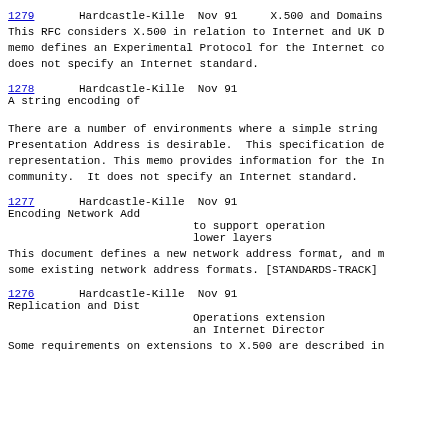1279   Hardcastle-Kille  Nov 91    X.500 and Domains
This RFC considers X.500 in relation to Internet and UK D memo defines an Experimental Protocol for the Internet co does not specify an Internet standard.
1278   Hardcastle-Kille  Nov 91    A string encoding of Address
There are a number of environments where a simple string Presentation Address is desirable.  This specification de representation. This memo provides information for the In community.  It does not specify an Internet standard.
1277   Hardcastle-Kille  Nov 91    Encoding Network Add to support operation lower layers
This document defines a new network address format, and m some existing network address formats. [STANDARDS-TRACK]
1276   Hardcastle-Kille  Nov 91    Replication and Dist Operations extension an Internet Director
Some requirements on extensions to X.500 are described in